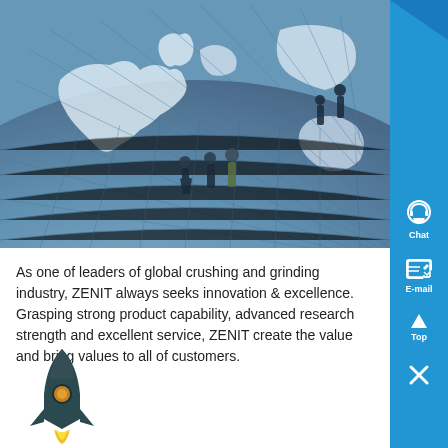[Figure (photo): Aerial view of business people standing on a large world map floor display, showing Europe and surrounding regions, with latitude/longitude grid lines.]
As one of leaders of global crushing and grinding industry, ZENIT always seeks innovation & excellence. Grasping strong product capability, advanced research strength and excellent service, ZENIT create the value and bring values to all of customers.
[Figure (illustration): Rocket ship illustration in dark teal/green color with yellow flame, pointing upward.]